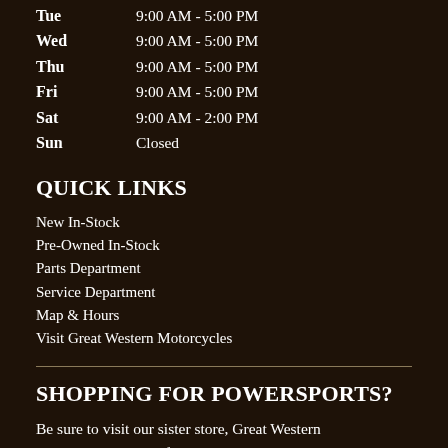Tue   9:00 AM - 5:00 PM
Wed   9:00 AM - 5:00 PM
Thu   9:00 AM - 5:00 PM
Fri   9:00 AM - 5:00 PM
Sat   9:00 AM - 2:00 PM
Sun   Closed
QUICK LINKS
New In-Stock
Pre-Owned In-Stock
Parts Department
Service Department
Map & Hours
Visit Great Western Motorcycles
SHOPPING FOR POWERSPORTS?
Be sure to visit our sister store, Great Western Motorcycles - a certified Honda, Polaris and Yamaha